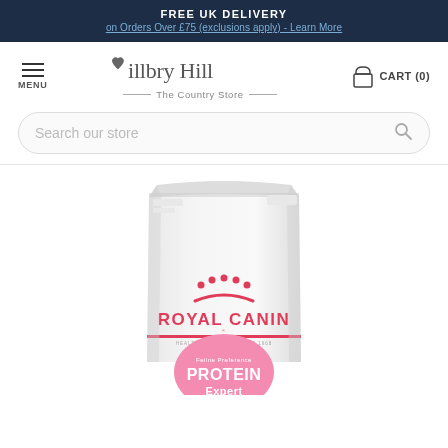FREE UK DELIVERY
on Orders Over £75 (exclusions apply) - Learn More
[Figure (logo): Millbry Hill – The Country Store logo with hamburger menu and cart]
[Figure (screenshot): Search bar with placeholder text 'Search our store']
[Figure (photo): Royal Canin Feline Preference Protein Expert cat food bag, partially visible, showing Royal Canin crown logo and pink Protein Expert label at the bottom]